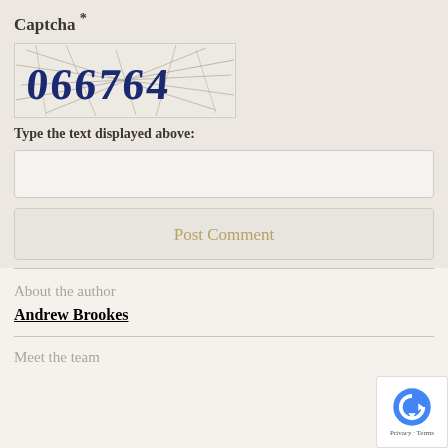Captcha *
[Figure (other): CAPTCHA image showing distorted text '066764' in dark blue on a light background with crossing lines]
Type the text displayed above:
Post Comment
About the author
Andrew Brookes
Meet the team